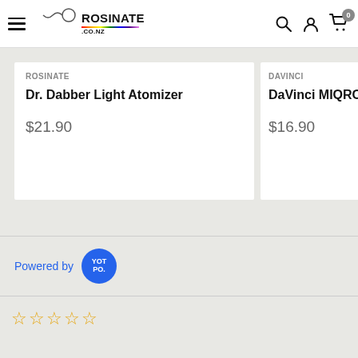Rosinate.co.nz navigation bar with hamburger menu, logo, search, account, and cart icons
ROSINATE
Dr. Dabber Light Atomizer
$21.90
DAVINCI
DaVinci MIQRO Acce
$16.90
Powered by Yotpo
☆☆☆☆☆